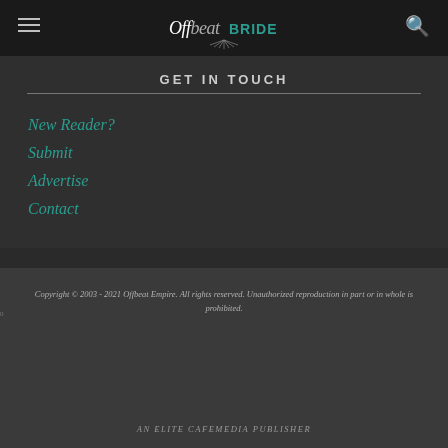Offbeat Bride
GET IN TOUCH
New Reader?
Submit
Advertise
Contact
Copyright © 2003 - 2021 Offbeat Empire. All rights reserved. Unauthorized reproduction in part or in whole is prohibited.
AN ELITE CAFEMEDIA PUBLISHER